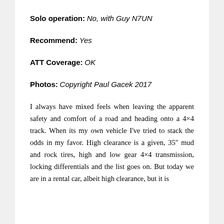Solo operation: No, with Guy N7UN
Recommend: Yes
ATT Coverage: OK
Photos: Copyright Paul Gacek 2017
I always have mixed feels when leaving the apparent safety and comfort of a road and heading onto a 4×4 track. When its my own vehicle I've tried to stack the odds in my favor. High clearance is a given, 35″ mud and rock tires, high and low gear 4×4 transmission, locking differentials and the list goes on. But today we are in a rental car, albeit high clearance, but it is